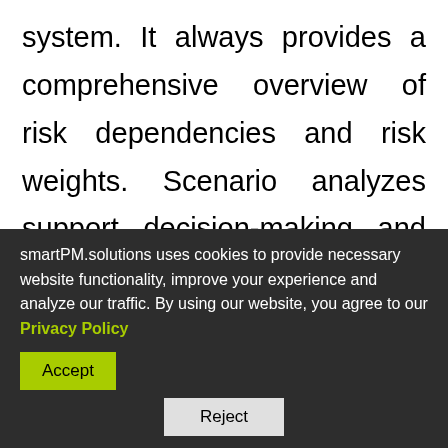system. It always provides a comprehensive overview of risk dependencies and risk weights. Scenario analyzes support decision-making and show the impact of aggregated or individual risks on the income statement, balance sheet and cash flow. For example, provisions can be formed for forecasted risks. More dashboards, input forms for risk identification, quantification, evaluation and a
smartPM.solutions uses cookies to provide necessary website functionality, improve your experience and analyze our traffic. By using our website, you agree to our Privacy Policy